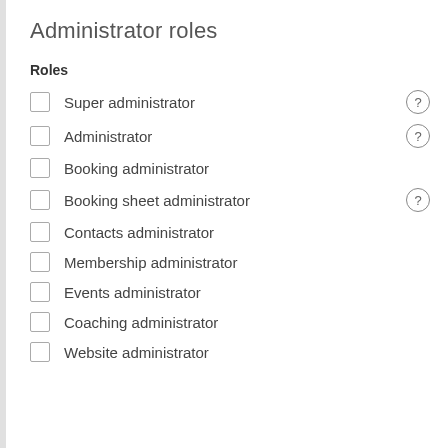Administrator roles
Roles
Super administrator
Administrator
Booking administrator
Booking sheet administrator
Contacts administrator
Membership administrator
Events administrator
Coaching administrator
Website administrator